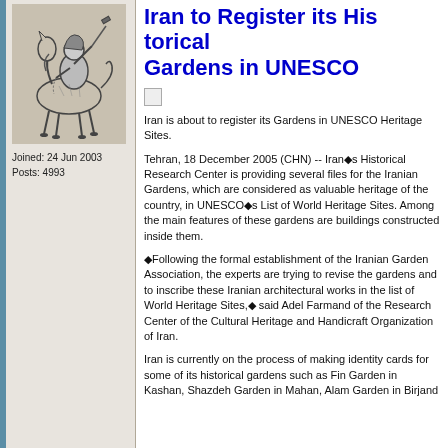Iran to Register its Historical Gardens in UNESCO
[Figure (illustration): Black and white sketch of a warrior on horseback]
Joined: 24 Jun 2003
Posts: 4993
[Figure (photo): Broken image icon]
Iran is about to register its Gardens in UNESCO Heritage Sites.
Tehran, 18 December 2005 (CHN) -- Iran◆s Historical Research Center is providing several files for the Iranian Gardens, which are considered as valuable heritage of the country, in UNESCO◆s List of World Heritage Sites. Among the main features of these gardens are buildings constructed inside them.
◆Following the formal establishment of the Iranian Garden Association, the experts are trying to revise the list of gardens and to inscribe these Iranian architectural works in the list of World Heritage Sites,◆ said Adel Farmand of the Research Center of the Cultural Heritage and Handicraft Organization of Iran.
Iran is currently on the process of making identity cards for some of its historical gardens such as Fin Garden in Kashan, Shazdeh Garden in Mahan, Alam Garden in Bi...